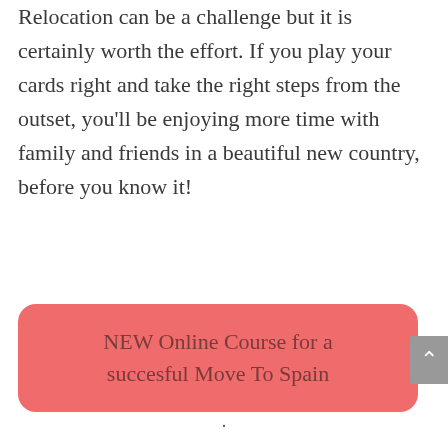Keeping Your Home Business Going During a Relocation can be a challenge but it is certainly worth the effort. If you play your cards right and take the right steps from the outset, you'll be enjoying more time with family and friends in a beautiful new country, before you know it!
[Figure (other): Pink rounded rectangle button with text 'NEW Online Course for a succesful Move To Spain']
.